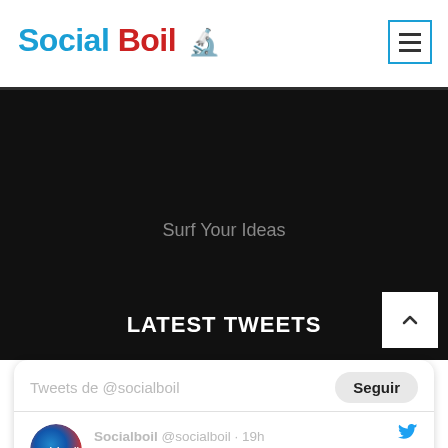Social Boil 🔬
Surf Your Ideas
LATEST TWEETS
Tweets de @socialboil
Socialboil @socialboil · 19h
🔧 Crea contenido rápido y de calidad.
Estas son 4 apps para crear collage en redes sociales:
👉 Picsart editor.